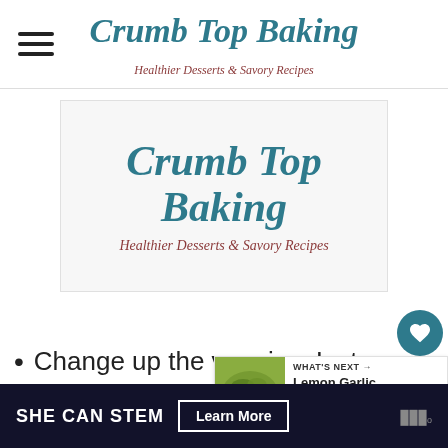Crumb Top Baking — Healthier Desserts & Savory Recipes
[Figure (logo): Crumb Top Baking logo card with teal script title and brown italic subtitle 'Healthier Desserts & Savory Recipes' on light grey background]
[Figure (infographic): Side social buttons: heart/save button (teal circle) with count 2.7K, and share button (white circle)]
Change up the veggies. Inste... radishes, add some chopped bell
[Figure (photo): What's Next panel: thumbnail of Lemon Garlic Pasta with... dish on a plate with greens]
SHE CAN STEM   Learn More